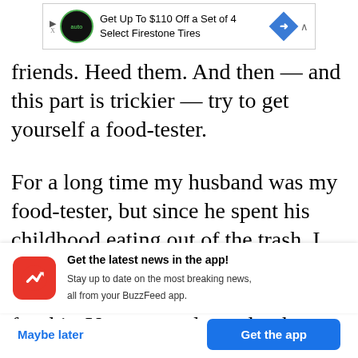[Figure (screenshot): Advertisement banner for Firestone Tires: Get Up To $110 Off a Set of 4 Select Firestone Tires]
friends. Heed them. And then — and this part is trickier — try to get yourself a food-tester.
For a long time my husband was my food-tester, but since he spent his childhood eating out of the trash, I am not sure he is fully qualified. My children have turned out to be perfect for this. Young people tend to have
[Figure (screenshot): BuzzFeed app notification banner: Get the latest news in the app! Stay up to date on the most breaking news, all from your BuzzFeed app. With Maybe later and Get the app buttons.]